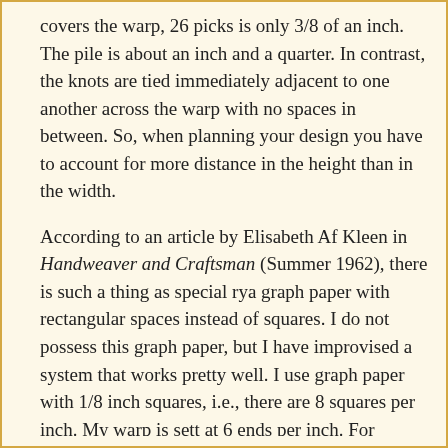covers the warp, 26 picks is only 3/8 of an inch. The pile is about an inch and a quarter. In contrast, the knots are tied immediately adjacent to one another across the warp with no spaces in between. So, when planning your design you have to account for more distance in the height than in the width.
According to an article by Elisabeth Af Kleen in Handweaver and Craftsman (Summer 1962), there is such a thing as special rya graph paper with rectangular spaces instead of squares. I do not possess this graph paper, but I have improvised a system that works pretty well. I use graph paper with 1/8 inch squares, i.e., there are 8 squares per inch. My warp is sett at 6 ends per inch. For planning purposes, I treat 6 squares of graph paper as 1 inch on the rya. Going horizontally across the plan, two squares equals one knot (because each knot is tied